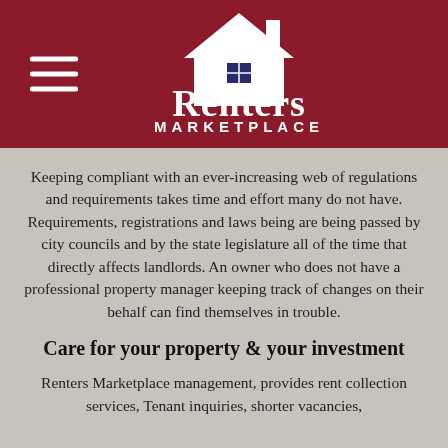[Figure (logo): Renters Marketplace logo: white house silhouette with blue window above text 'Renters MARKETPLACE' in white on dark red background, with hamburger menu icon to the left]
Keeping compliant with an ever-increasing web of regulations and requirements takes time and effort many do not have. Requirements, registrations and laws being are being passed by city councils and by the state legislature all of the time that directly affects landlords. An owner who does not have a professional property manager keeping track of changes on their behalf can find themselves in trouble.
Care for your property & your investment
Renters Marketplace management, provides rent collection services, Tenant inquiries, shorter vacancies,